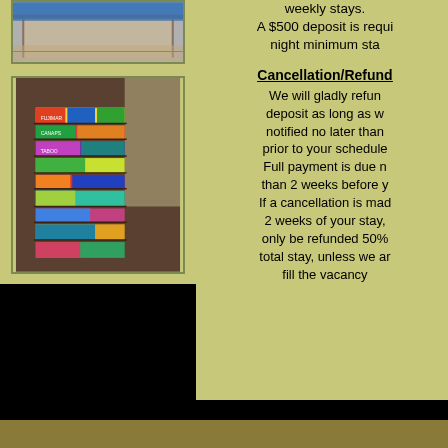[Figure (photo): Photo of a bed with blue frame and wooden floor visible from above]
[Figure (photo): Photo of stacked board game and activity boxes in a dark room with window blinds]
weekly stays. A $500 deposit is required for 3 night minimum stays.
Cancellation/Refund
We will gladly refund deposit as long as we are notified no later than 3 prior to your scheduled. Full payment is due no more than 2 weeks before your stay. If a cancellation is made within 2 weeks of your stay, you will only be refunded 50% of your total stay, unless we are able to fill the vacancy.